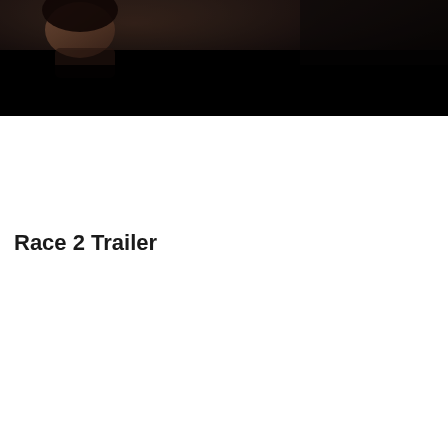[Figure (photo): A dark cinematic still image showing a person (partially visible, appears to be a woman) in a dimly lit scene. The upper portion shows some facial features while the lower portion fades to near-black.]
Race 2 Trailer